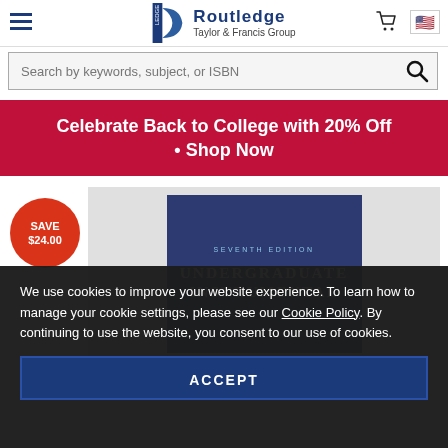Routledge Taylor & Francis Group
Search by keywords, subject, or ISBN
Celebrate Back to College with 20% Off • Shop Now
[Figure (photo): Book cover for Undergraduate Instrumental, Seventh Edition, with blue cover and white text]
We use cookies to improve your website experience. To learn how to manage your cookie settings, please see our Cookie Policy. By continuing to use the website, you consent to our use of cookies.
ACCEPT